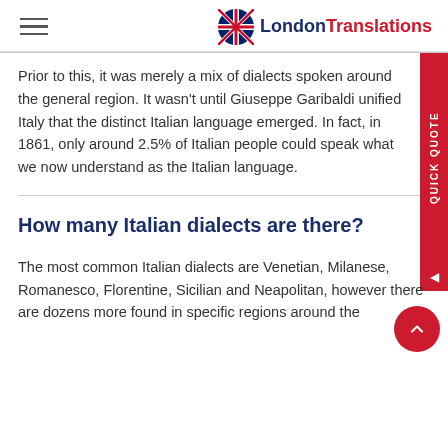London Translations
Prior to this, it was merely a mix of dialects spoken around the general region. It wasn't until Giuseppe Garibaldi unified Italy that the distinct Italian language emerged. In fact, in 1861, only around 2.5% of Italian people could speak what we now understand as the Italian language.
How many Italian dialects are there?
The most common Italian dialects are Venetian, Milanese, Romanesco, Florentine, Sicilian and Neapolitan, however there are dozens more found in specific regions around the